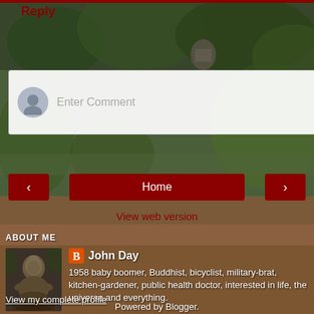Reply
[Figure (screenshot): Comment input box with avatar placeholder and 'Enter Comment' placeholder text on a semi-transparent white background]
[Figure (screenshot): Navigation buttons row: left arrow, Home button, right arrow]
View web version
ABOUT ME
[Figure (photo): Profile photo showing a Buddha statue]
John Day
1958 baby boomer, Buddhist, bicyclist, military-brat, kitchen-gardener, public health doctor, interested in life, the universe and everything.
View my complete profile
Powered by Blogger.